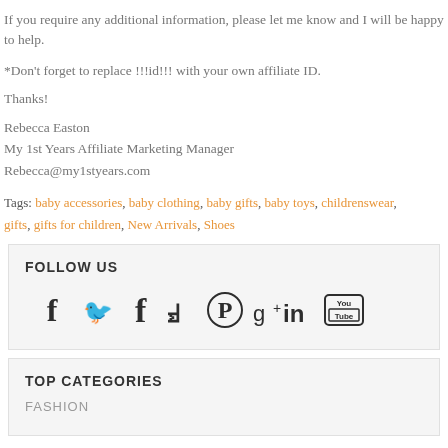If you require any additional information, please let me know and I will be happy to help.
*Don't forget to replace !!!id!!! with your own affiliate ID.
Thanks!
Rebecca Easton
My 1st Years Affiliate Marketing Manager
Rebecca@my1styears.com
Tags: baby accessories, baby clothing, baby gifts, baby toys, childrenswear, gifts, gifts for children, New Arrivals, Shoes
FOLLOW US
[Figure (infographic): Social media icons: Facebook, Twitter, Pinterest, Google+, LinkedIn, YouTube]
TOP CATEGORIES
FASHION